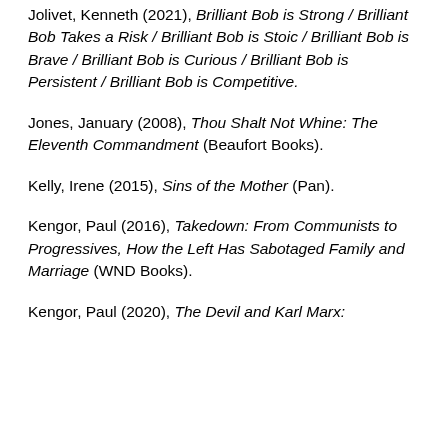Jolivet, Kenneth (2021), Brilliant Bob is Strong / Brilliant Bob Takes a Risk / Brilliant Bob is Stoic / Brilliant Bob is Brave / Brilliant Bob is Curious / Brilliant Bob is Persistent / Brilliant Bob is Competitive.
Jones, January (2008), Thou Shalt Not Whine: The Eleventh Commandment (Beaufort Books).
Kelly, Irene (2015), Sins of the Mother (Pan).
Kengor, Paul (2016), Takedown: From Communists to Progressives, How the Left Has Sabotaged Family and Marriage (WND Books).
Kengor, Paul (2020), The Devil and Karl Marx: